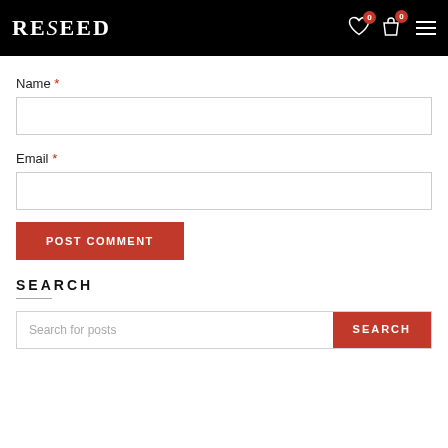RESEED — navigation header with wishlist (0), cart (0), and menu icons
Name *
[Figure (other): Empty text input field for Name]
Email *
[Figure (other): Empty text input field for Email]
POST COMMENT
SEARCH
[Figure (other): Search input field with placeholder 'Search for posts' and a red SEARCH button]